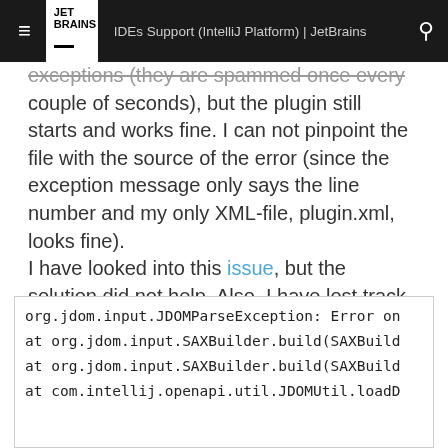≡  JET BRAINS  IDEs Support (IntelliJ Platform) | JetBrains  🔍
exceptions (they are spammed once every couple of seconds), but the plugin still starts and works fine. I can not pinpoint the file with the source of the error (since the exception message only says the line number and my only XML-file, plugin.xml, looks fine).
I have looked into this issue, but the solution did not help. Also, I have lost track of when it did start to happen.
How can I get rid of them?
org.jdom.input.JDOMParseException: Error on
at org.jdom.input.SAXBuilder.build(SAXBuild
at org.jdom.input.SAXBuilder.build(SAXBuild
at com.intellij.openapi.util.JDOMUtil.loadD